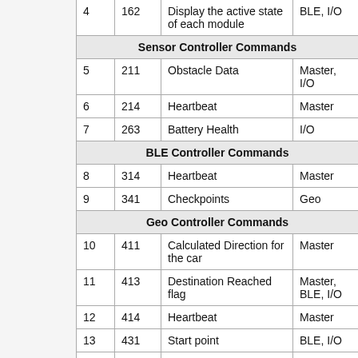| # | ID | Description | Subscribers |
| --- | --- | --- | --- |
| 4 | 162 | Display the active state of each module | BLE, I/O |
| Sensor Controller Commands |  |  |  |
| 5 | 211 | Obstacle Data | Master, I/O |
| 6 | 214 | Heartbeat | Master |
| 7 | 263 | Battery Health | I/O |
| BLE Controller Commands |  |  |  |
| 8 | 314 | Heartbeat | Master |
| 9 | 341 | Checkpoints | Geo |
| Geo Controller Commands |  |  |  |
| 10 | 411 | Calculated Direction for the car | Master |
| 11 | 413 | Destination Reached flag | Master, BLE, I/O |
| 12 | 414 | Heartbeat | Master |
| 13 | 431 | Start point | BLE, I/O |
| 14 | 461 | Compass data | I/O |